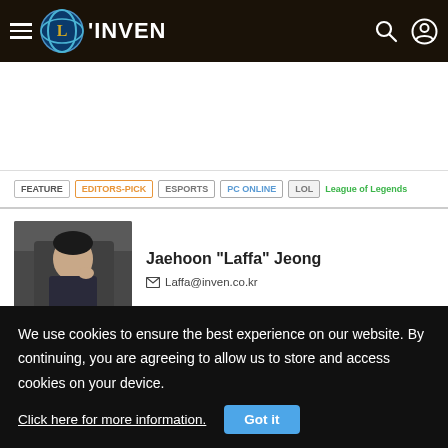INVEN Global
[Figure (other): Advertisement/banner white space area]
FEATURE | EDITORS-PICK | ESPORTS | PC ONLINE | LOL | League of Legends
Jaehoon "Laffa" Jeong — Laffa@inven.co.kr
[Figure (photo): Photo of Jaehoon Laffa Jeong, young man sitting at a gaming station]
David "Viion" Jang
We use cookies to ensure the best experience on our website. By continuing, you are agreeing to allow us to store and access cookies on your device.
Click here for more information.
Got it